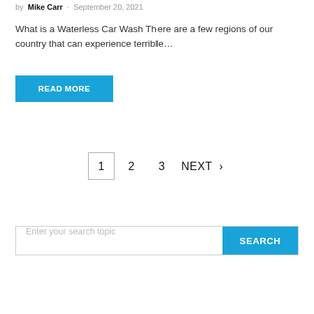by Mike Carr · September 20, 2021
What is a Waterless Car Wash There are a few regions of our country that can experience terrible…
READ MORE
1  2  3  NEXT ›
Enter your search topic  SEARCH